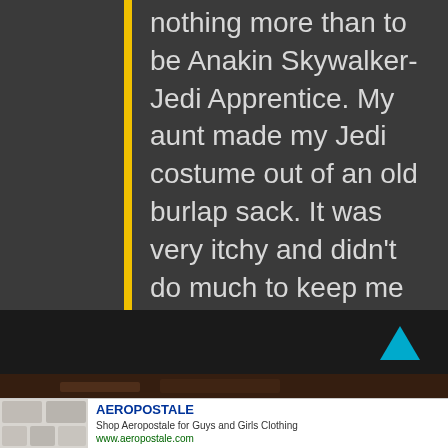nothing more than to be Anakin Skywalker-Jedi Apprentice. My aunt made my Jedi costume out of an old burlap sack. It was very itchy and didn't do much to keep me warm but I was proud to wear it. Star Wars Podracing for Nintendo 64 became my favorite game of that year, and some of my most treasured childhood memories was going over to my friend's house to play it after school.
[Figure (photo): Dark brown image strip, partially visible photograph]
AEROPOSTALE
Shop Aeropostale for Guys and Girls Clothing
www.aeropostale.com